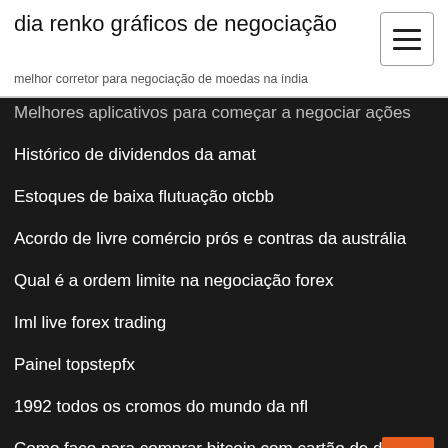dia renko gráficos de negociação
melhor corretor para negociação de moedas na índia
Melhores aplicativos para começar a negociar ações
Histórico de dividendos da amat
Estoques de baixa flutuação otcbb
Acordo de livre comércio prós e contras da austrália
Qual é a ordem limite na negociação forex
Iml live forex trading
Painel topstepfx
1992 todos os cromos do mundo da nfl
Como faço para comprar bitcoin com cartão de débito
Notícias sobre preços de prata hoje